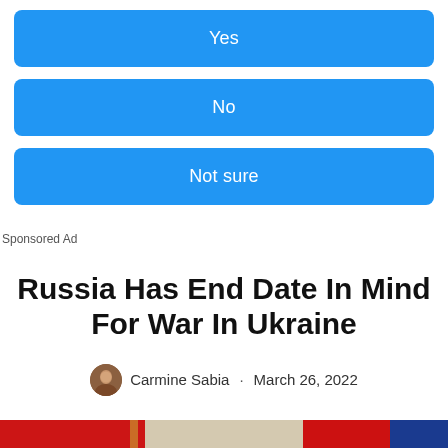Yes
No
Not sure
Sponsored Ad
Russia Has End Date In Mind For War In Ukraine
Carmine Sabia · March 26, 2022
[Figure (photo): Photo of a bald man (Vladimir Putin) in front of red flags and a light-colored interior background]